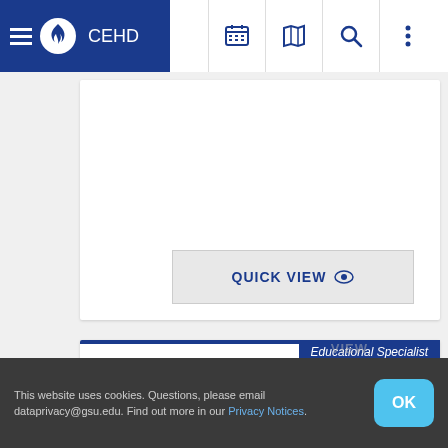CEHD
QUICK VIEW
Educational Specialist
School Psychology, Concurrent M.Ed./Ed.S.
Department: Counseling and Psychological Services
Locations: Atlanta Campus
Interest Area: Counseling/Psychology
This website uses cookies. Questions, please email dataprivacy@gsu.edu. Find out more in our Privacy Notices.